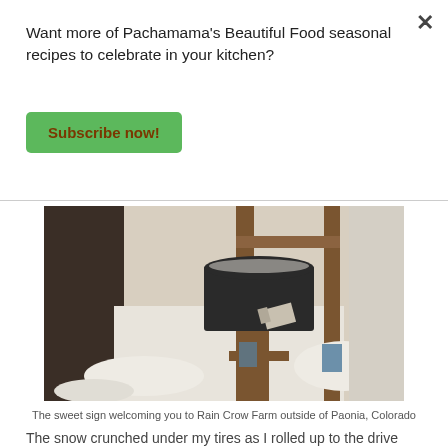Want more of Pachamama's Beautiful Food seasonal recipes to celebrate in your kitchen?
Subscribe now!
[Figure (photo): A black metal mailbox on a wooden post, surrounded by snow, at the entrance to Rain Crow Farm outside of Paonia, Colorado]
The sweet sign welcoming you to Rain Crow Farm outside of Paonia, Colorado
The snow crunched under my tires as I rolled up to the drive